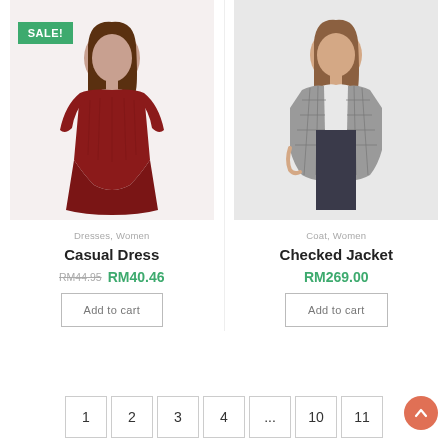[Figure (photo): Woman wearing a red casual wrap dress with long sleeves, with a green SALE badge overlay in the top left]
Dresses, Women
Casual Dress
RM44.95 RM40.46
Add to cart
[Figure (photo): Woman wearing a grey checked blazer/jacket over a white top with dark jeans]
Coat, Women
Checked Jacket
RM269.00
Add to cart
1  2  3  4  ...  10  11